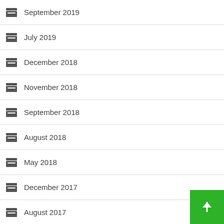September 2019
July 2019
December 2018
November 2018
September 2018
August 2018
May 2018
December 2017
August 2017
May 2017
March 2017
January 2017
July 2016